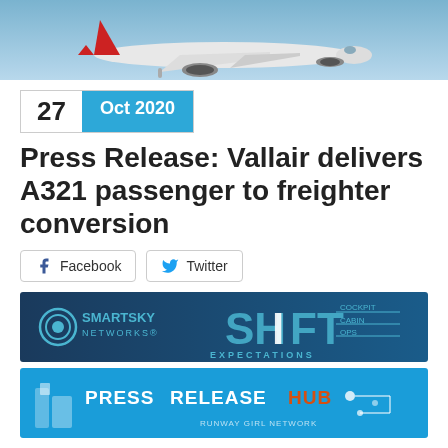[Figure (photo): Airplane in flight against blue sky, viewed from below/front angle, red tail visible]
27  Oct 2020
Press Release: Vallair delivers A321 passenger to freighter conversion
Facebook  Twitter
[Figure (illustration): SmartSky Networks advertisement banner with SHIFT EXPECTATIONS tagline, COCKPIT CABIN OPS listed]
[Figure (illustration): Press Release Hub advertisement banner by Runway Girl Network]
Vallair, the mature aircraft asset specialist, has delivered its pioneering Airbus A321 P2F (passenger to freighter)